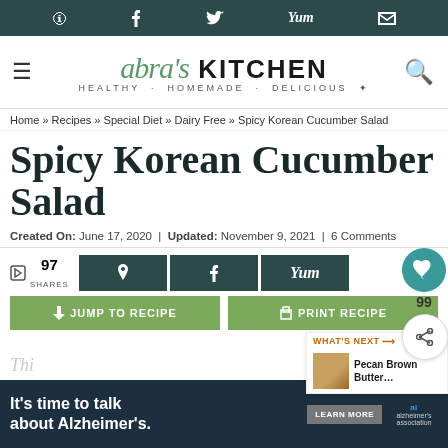Social sharing bar with Pinterest, Facebook, Twitter, Yum, Email icons
[Figure (logo): Abra's Kitchen logo with tagline HEALTHY · HOMEMADE · DELICIOUS]
Home » Recipes » Special Diet » Dairy Free » Spicy Korean Cucumber Salad
Spicy Korean Cucumber Salad
Created On: June 17, 2020 | Updated: November 9, 2021 | 6 Comments
97 SHARES — share buttons Pinterest, Facebook, Yum
JUMP TO RECIPE   PRINT RECIPE
It's time to talk about Alzheimer's. LEARN MORE — alzheimer's association